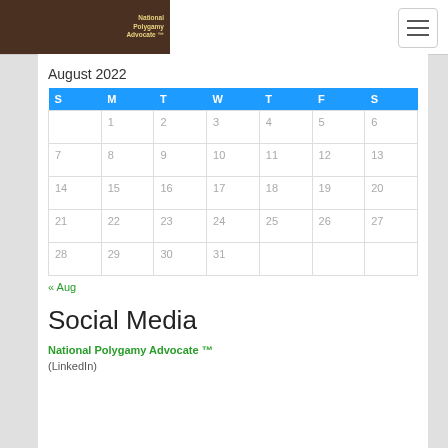National Polygamy Advocate ™
August 2022
| S | M | T | W | T | F | S |
| --- | --- | --- | --- | --- | --- | --- |
|  | 1 | 2 | 3 | 4 | 5 | 6 |
| 7 | 8 | 9 | 10 | 11 | 12 | 13 |
| 14 | 15 | 16 | 17 | 18 | 19 | 20 |
| 21 | 22 | 23 | 24 | 25 | 26 | 27 |
| 28 | 29 | 30 | 31 |  |  |  |
« Aug
Social Media
National Polygamy Advocate ™
(LinkedIn)